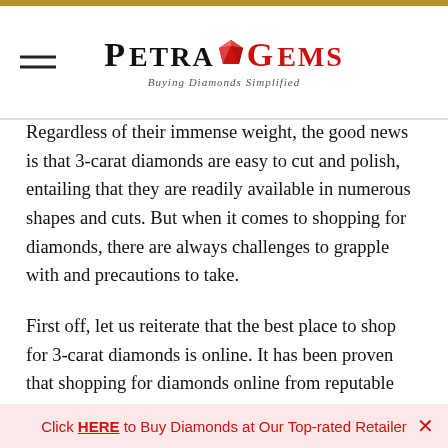PETRA GEMS — Buying Diamonds Simplified
Regardless of their immense weight, the good news is that 3-carat diamonds are easy to cut and polish, entailing that they are readily available in numerous shapes and cuts. But when it comes to shopping for diamonds, there are always challenges to grapple with and precautions to take.
First off, let us reiterate that the best place to shop for 3-carat diamonds is online. It has been proven that shopping for diamonds online from reputable dealers is up to 30% cheaper.
Click HERE to Buy Diamonds at Our Top-rated Retailer